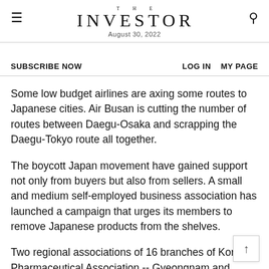THE INVESTOR
August 30, 2022
SUBSCRIBE NOW    LOG IN  MY PAGE
Some low budget airlines are axing some routes to Japanese cities. Air Busan is cutting the number of routes between Daegu-Osaka and scrapping the Daegu-Tokyo route all together.
The boycott Japan movement have gained support not only from buyers but also from sellers. A small and medium self-employed business association has launched a campaign that urges its members to remove Japanese products from the shelves.
Two regional associations of 16 branches of Korea Pharmaceutical Association -- Gyeongnam and Jeonbuk branches -- on July 19 announced that they